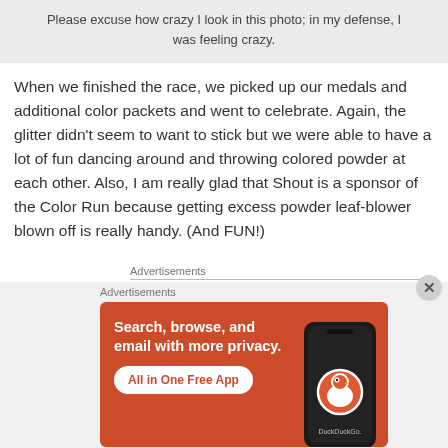Please excuse how crazy I look in this photo; in my defense, I was feeling crazy.
When we finished the race, we picked up our medals and additional color packets and went to celebrate. Again, the glitter didn't seem to want to stick but we were able to have a lot of fun dancing around and throwing colored powder at each other. Also, I am really glad that Shout is a sponsor of the Color Run because getting excess powder leaf-blower blown off is really handy. (And FUN!)
Advertisements
Advertisements
[Figure (screenshot): DuckDuckGo advertisement banner with orange background. Text reads: Search, browse, and email with more privacy. All in One Free App. Shows a phone with DuckDuckGo logo.]